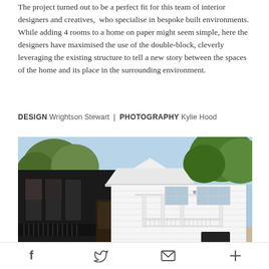The project turned out to be a perfect fit for this team of interior designers and creatives, who specialise in bespoke built environments. While adding 4 rooms to a home on paper might seem simple, here the designers have maximised the use of the double-block, cleverly leveraging the existing structure to tell a new story between the spaces of the home and its place in the surrounding environment.
DESIGN Wrightson Stewart | PHOTOGRAPHY Kylie Hood
[Figure (photo): Exterior photo of a house showing a contrast between a dark/black modern addition on the left and a traditional white Queenslander-style home on the right, with trees visible in the background and blue sky above.]
Social sharing icons: Facebook, Twitter, Email, More